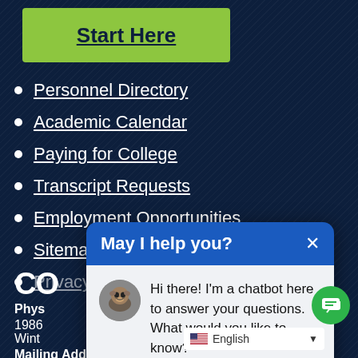Start Here
Personnel Directory
Academic Calendar
Paying for College
Transcript Requests
Employment Opportunities
Sitemap
Privacy Policy
CO
Physical Address:
1986
Wint
Mailing Address:
[Figure (screenshot): Chatbot popup overlay with header 'May I help you?' and message 'Hi there! I'm a chatbot here to answer your questions. What would you like to know?' with a bulldog avatar, close button X, and a green chat FAB button. A language selector showing English with a US flag is at the bottom.]